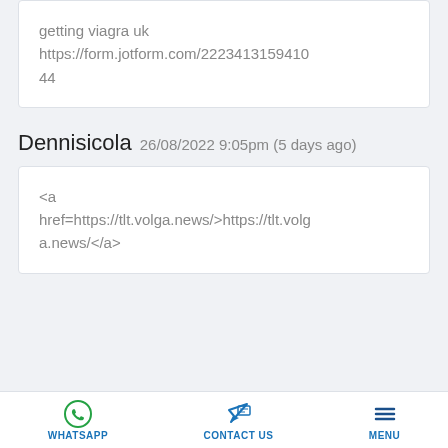getting viagra uk
https://form.jotform.com/222341315941044
Dennisicola   26/08/2022 9:05pm (5 days ago)
<a href=https://tlt.volga.news/>https://tlt.volga.news/</a>
WHATSAPP   CONTACT US   MENU